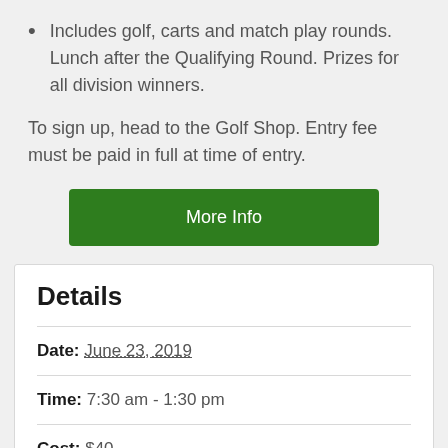Includes golf, carts and match play rounds. Lunch after the Qualifying Round. Prizes for all division winners.
To sign up, head to the Golf Shop. Entry fee must be paid in full at time of entry.
More Info
Details
Date: June 23, 2019
Time: 7:30 am - 1:30 pm
Cost: $40
Venue